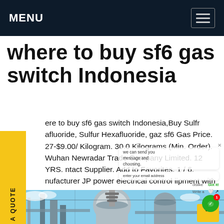MENU
where to buy sf6 gas switch Indonesia
ere to buy sf6 gas switch Indonesia,Buy Sulfr afluoride, Sulfur Hexafluoride, gaz sf6 Gas Price. 27-$9.00/ Kilogram. 30.0 Kilograms (Min. Order). Wuhan Newradar Trade Company Limited. 12 YRS. ntact Supplier. Add to Favorites. 1 / 6. nufacturer JP power electrical control iipment with sf6 gas 33kv factory price.Get price
[Figure (photo): Industrial electrical switchgear / SF6 gas switch equipment photo showing large cylindrical metal components and power infrastructure against a blue sky]